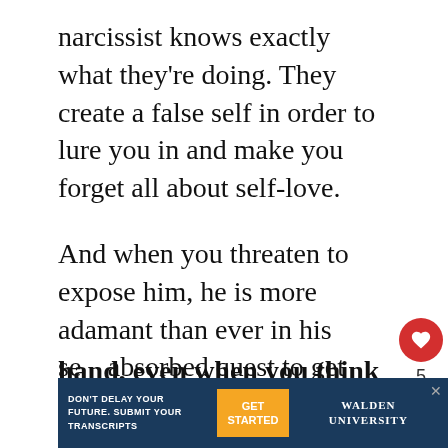narcissist knows exactly what they're doing. They create a false self in order to lure you in and make you forget all about self-love.
And when you threaten to expose him, he is more adamant than ever in his self-absorbed quest to get you back.
A narcissist always has the upper hand, even when you think you're on to him. So consider the following
[Figure (screenshot): Advertisement banner at bottom: dark navy background with Walden University ad. Text: DON'T DELAY YOUR FUTURE. SUBMIT YOUR TRANSCRIPTS. Orange GET STARTED button. Walden University logo.]